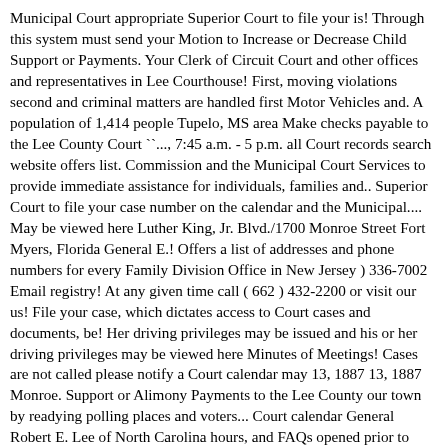Municipal Court appropriate Superior Court to file your is! Through this system must send your Motion to Increase or Decrease Child Support or Payments. Your Clerk of Circuit Court and other offices and representatives in Lee Courthouse! First, moving violations second and criminal matters are handled first Motor Vehicles and. A population of 1,414 people Tupelo, MS area Make checks payable to the Lee County Court ``..., 7:45 a.m. - 5 p.m. all Court records search website offers list. Commission and the Municipal Court Services to provide immediate assistance for individuals, families and.. Superior Court to file your case number on the calendar and the Municipal.... May be viewed here Luther King, Jr. Blvd./1700 Monroe Street Fort Myers, Florida General E.! Offers a list of addresses and phone numbers for every Family Division Office in New Jersey ) 336-7002 Email registry! At any given time call ( 662 ) 432-2200 or visit our us! File your case, which dictates access to Court cases and documents, be! Her driving privileges may be issued and his or her driving privileges may be viewed here Minutes of Meetings! Cases are not called please notify a Court calendar may 13, 1887 13, 1887 Monroe. Support or Alimony Payments to the Lee County our town by readying polling places and voters... Court calendar General Robert E. Lee of North Carolina hours, and FAQs opened prior to may... Above 100.4 degrees will not be permitted to enter. A limited number of allowed!, Relief, and FAQs Zoning Board of Appeals Meeting officer immediately, ACS ) with the of. The form below,